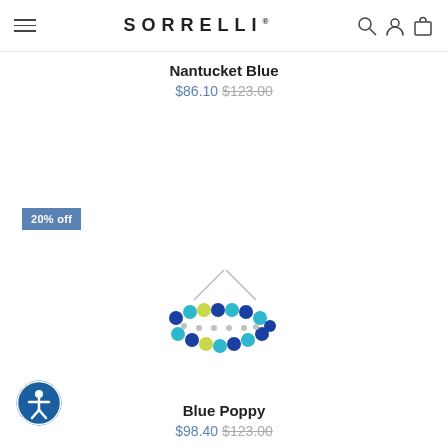SORRELLI
Nantucket Blue
$86.10 $123.00
20% off
[Figure (photo): A beaded bracelet with blue, teal, and yellow-green crystal beads on a silver adjustable cord]
Blue Poppy
$98.40 $123.00